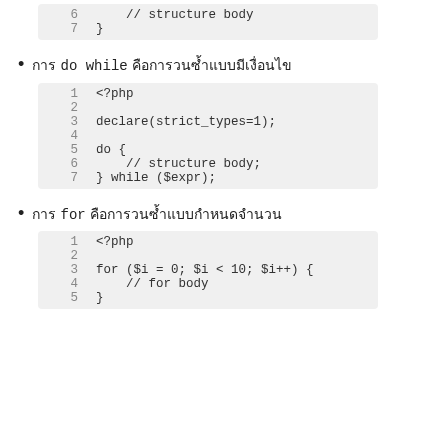[Figure (screenshot): Code block showing lines 6-7: '// structure body' and '}']
การ do while คือการวนซ้ำแบบมีเงื่อนไข
[Figure (screenshot): PHP code block lines 1-7: <?php, blank, declare(strict_types=1);, blank, do {, // structure body;, } while ($expr);]
การ for คือการวนซ้ำแบบกำหนดจำนวน
[Figure (screenshot): PHP code block lines 1-5: <?php, blank, for ($i = 0; $i < 10; $i++) {, // for body, }]